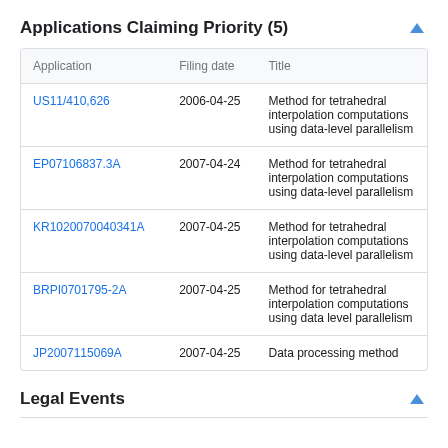Applications Claiming Priority (5)
| Application | Filing date | Title |
| --- | --- | --- |
| US11/410,626 | 2006-04-25 | Method for tetrahedral interpolation computations using data-level parallelism |
| EP07106837.3A | 2007-04-24 | Method for tetrahedral interpolation computations using data-level parallelism |
| KR1020070040341A | 2007-04-25 | Method for tetrahedral interpolation computations using data-level parallelism |
| BRPI0701795-2A | 2007-04-25 | Method for tetrahedral interpolation computations using data level parallelism |
| JP2007115069A | 2007-04-25 | Data processing method |
Legal Events